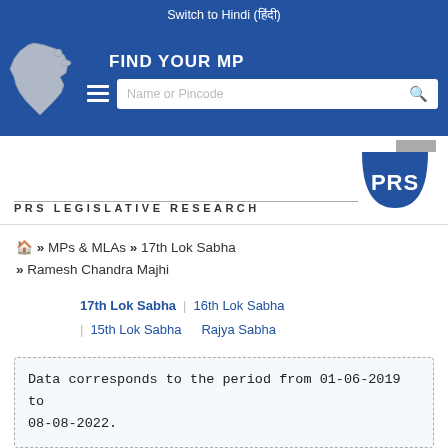Switch to Hindi (हिंदी)
[Figure (screenshot): Blue header banner with India map silhouette on the left, hamburger menu icon, 'FIND YOUR MP' title, and a search box with placeholder 'Name or Pincode' and a search icon]
[Figure (logo): PRS Legislative Research logo — blue semicircle badge with 'PRS' text on the right, and 'PRS LEGISLATIVE RESEARCH' text in uppercase letter-spaced font on the left, separated by a horizontal line]
🏠 » MPs & MLAs » 17th Lok Sabha » Ramesh Chandra Majhi
17th Lok Sabha | 16th Lok Sabha | 15th Lok Sabha Rajya Sabha
Data corresponds to the period from 01-06-2019 to 08-08-2022.